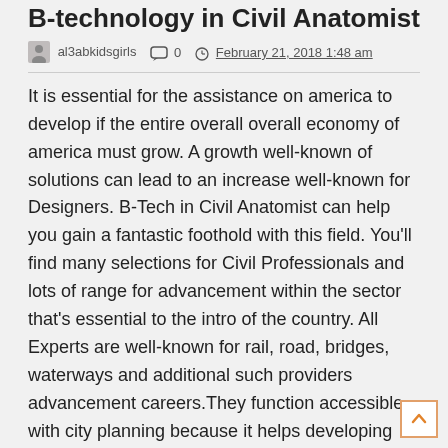B-technology in Civil Anatomist
al3abkidsgirls  0  February 21, 2018 1:48 am
It is essential for the assistance on america to develop if the entire overall overall economy of america must grow. A growth well-known of solutions can lead to an increase well-known for Designers. B-Tech in Civil Anatomist can help you gain a fantastic foothold with this field. You'll find many selections for Civil Professionals and lots of range for advancement within the sector that's essential to the intro of the country. All Experts are well-known for rail, road, bridges, waterways and additional such providers advancement careers.They function accessible with city planning because it helps developing standard water assets, sewage treatment services and different other such answers to conditions the way the culture may face. Through schooling program understand about work